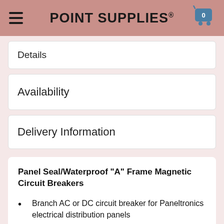POINT SUPPLIES®
Details
Availability
Delivery Information
Panel Seal/Waterproof "A" Frame Magnetic Circuit Breakers
Branch AC or DC circuit breaker for Paneltronics electrical distribution panels
Meets all American Boat and Yacht Council (ABYC) Standards for non ignition protected circuit breakers